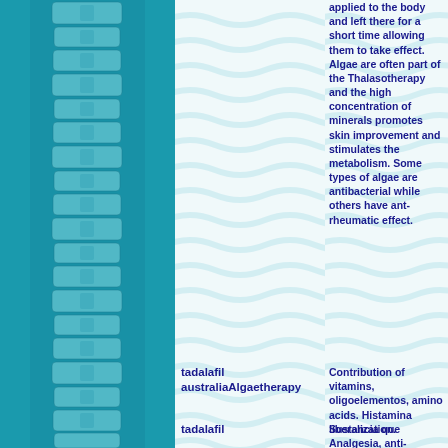[Figure (photo): Teal-colored photograph of a human spine/vertebral column viewed from the side, overlaid with a teal color wash]
applied to the body and left there for a short time allowing them to take effect. Algae are often part of the Thalasotherapy and the high concentration of minerals promotes skin improvement and stimulates the metabolism. Some types of algae are antibacterial while others have ant-rheumatic effect.
tadalafil australiaAlgaetherapy
Contribution of vitamins, oligoelementos, amino acids. Histamina liberalization. Analgesia, anti-inflammatory, sedative, metabolic regulator.
tadalafil
Sustancia que